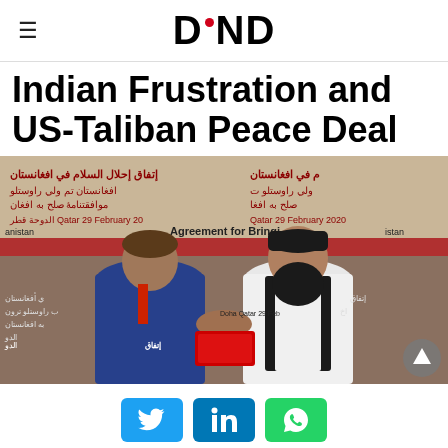DND
Indian Frustration and US-Taliban Peace Deal
[Figure (photo): Two men shaking hands at the signing of the US-Taliban agreement in Doha, Qatar, 29 February 2020. Arabic and English text visible on banners behind them reading 'Agreement for Bringing Peace to Afghanistan' and 'Doha Qatar 29 February 2020'.]
Twitter LinkedIn WhatsApp social share buttons